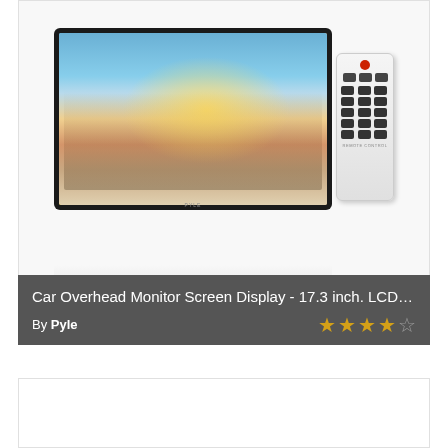[Figure (photo): Product photo of a 17.3 inch car overhead LCD monitor showing a beach scene with group of people, displayed alongside a white remote control]
Car Overhead Monitor Screen Display - 17.3 inch. LCD Vehicl...
By Pyle
[Figure (other): Star rating showing 4 out of 5 stars (4 filled gold stars and 1 empty star)]
[Figure (photo): Second product card image area (blank/loading)]